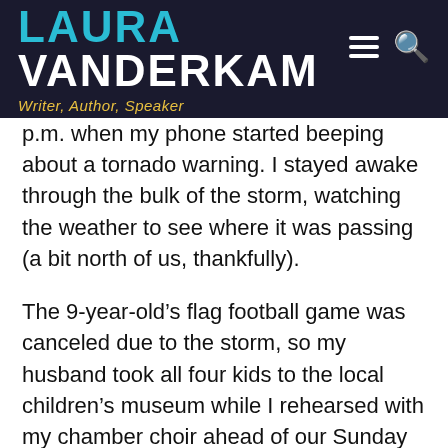LAURA VANDERKAM — Writer, Author, Speaker
p.m. when my phone started beeping about a tornado warning. I stayed awake through the bulk of the storm, watching the weather to see where it was passing (a bit north of us, thankfully).
The 9-year-old's flag football game was canceled due to the storm, so my husband took all four kids to the local children's museum while I rehearsed with my chamber choir ahead of our Sunday performance. They came back just in time for family photos. Yana, photographer extraordinaire, came from New Jersey to take